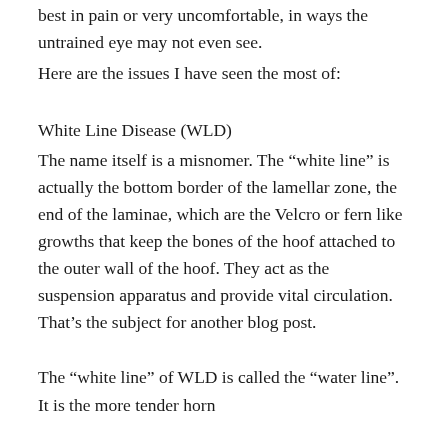best in pain or very uncomfortable, in ways the untrained eye may not even see.
Here are the issues I have seen the most of:
White Line Disease (WLD)
The name itself is a misnomer. The “white line” is actually the bottom border of the lamellar zone, the end of the laminae, which are the Velcro or fern like growths that keep the bones of the hoof attached to the outer wall of the hoof. They act as the suspension apparatus and provide vital circulation. That’s the subject for another blog post.
The “white line” of WLD is called the “water line”. It is the more tender horn